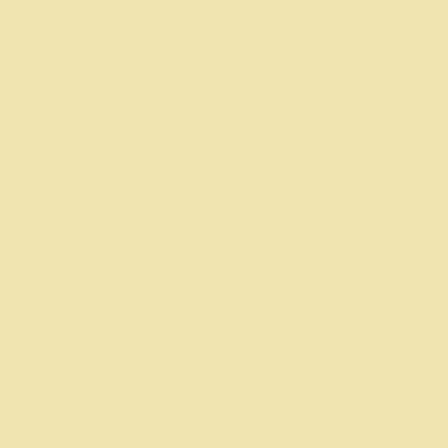difficult life situations constructive ISSR includes adaptiveness-conformity, an invariant of productive ISSR. Persons with good adaptivity are capable of establishing rules of interaction in a group. Persons with weak neuropsychic stability get stress resistance by including adaptivity-lability in the complex of psychological components of ISSR, which in the first place prevents perception the factors of organizational stress.
[Figure (other): PDF file icon with link: rogozyan2012_2.pdf (421 Kb)]
Z.I. Tsiku
Orientation in the system of psychological ... of professionalism of the teacher of pre... educational establishment of the combined...
The paper studies the empirical data characterizing manifestations of a person orientation of the teacher of preschool educational institution of the combined type at different stages of a professional cycle. It is proved that it has invariant (typological) and specific components. To invariant components the author refers a personal orientation to business (a production task) and social focused professional preferences which are closely interconnected. Specific components are defined as quality indicators of motive...